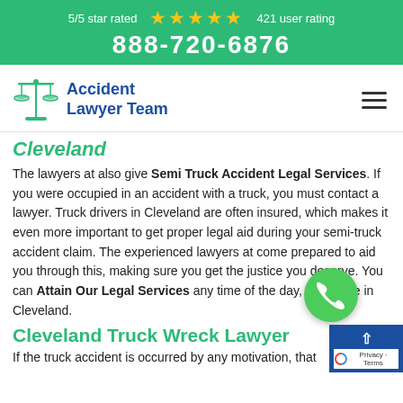5/5 star rated ★★★★★ 421 user rating
888-720-6876
[Figure (logo): Accident Lawyer Team logo with scales of justice icon and navigation hamburger menu]
Cleveland
The lawyers at also give Semi Truck Accident Legal Services. If you were occupied in an accident with a truck, you must contact a lawyer. Truck drivers in Cleveland are often insured, which makes it even more important to get proper legal aid during your semi-truck accident claim. The experienced lawyers at come prepared to aid you through this, making sure you get the justice you deserve. You can Attain Our Legal Services any time of the day, anywhere in Cleveland.
Cleveland Truck Wreck Lawyer
If the truck accident is occurred by any motivation, that